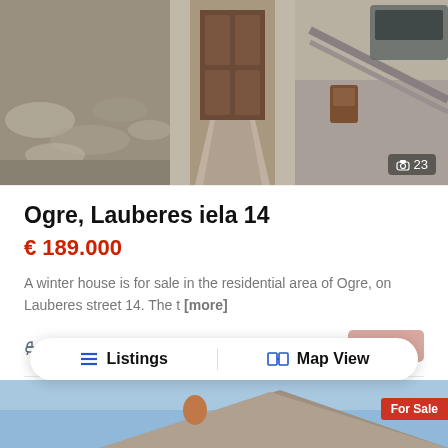[Figure (photo): Exterior photo of a residential property entrance with stone pathway and stairs, showing a wooden door and handrail. Photo counter showing 23 images.]
Ogre, Lauberes iela 14
€ 189.000
A winter house is for sale in the residential area of Ogre, on Lauberes street 14. The t [more]
2   262 m²   details
Listings   Map View
[Figure (photo): Partial view of a property with a roof visible, blue sky background, and a For Sale badge.]